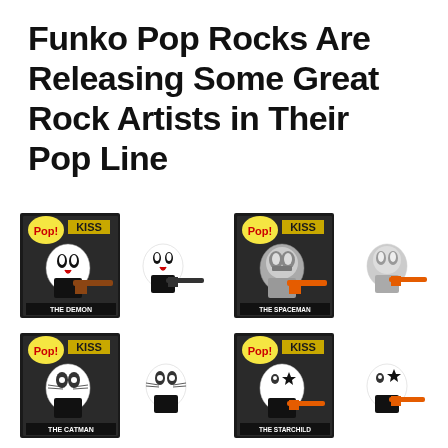Funko Pop Rocks Are Releasing Some Great Rock Artists in Their Pop Line
[Figure (photo): Four Funko Pop KISS collectible figures in their boxes arranged in a 2x2 grid. Top-left: The Demon figure with black and white face paint holding a guitar. Top-right: The Spaceman figure with silver face paint holding an orange guitar. Bottom-left: The Catman figure with cat face paint. Bottom-right: The Starchild figure with star eye makeup holding an orange guitar.]